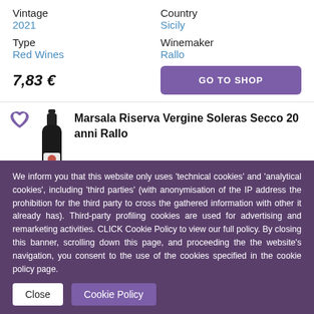Vintage
2021
Country
Sicily
Type
Red Wines
Winemaker
Rallo
7,83 €
GO TO SHOP
Marsala Riserva Vergine Soleras Secco 20 anni Rallo
We inform you that this website only uses 'technical cookies' and 'analytical cookies', including 'third parties' (with anonymisation of the IP address the prohibition for the third party to cross the gathered information with other it already has). Third-party profiling cookies are used for advertising and remarketing activities. CLICK Cookie Policy to view our full policy. By closing this banner, scrolling down this page, and proceeding the the website's navigation, you consent to the use of the cookies specified in the cookie policy page.
Close
Cookie Policy